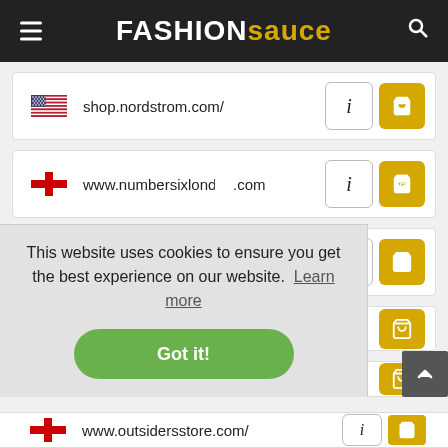FASHIONSAUCE
shop.nordstrom.com/
www.numbersixlondon.com
www.offspring.co.uk/
www.outsidersstore.com/
This website uses cookies to ensure you get the best experience on our website. Learn more
Got it!